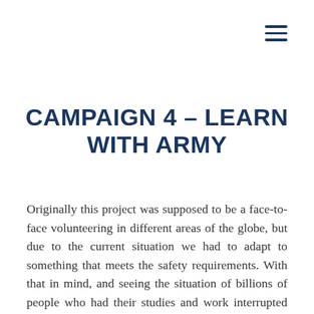[Figure (other): Hamburger menu icon with three horizontal lines in dark navy blue]
CAMPAIGN 4 – LEARN WITH ARMY
Originally this project was supposed to be a face-to-face volunteering in different areas of the globe, but due to the current situation we had to adapt to something that meets the safety requirements. With that in mind, and seeing the situation of billions of people who had their studies and work interrupted due to social distancing measures, we decided to launch an online class project in which ARMYs can volunteer to teach others some of